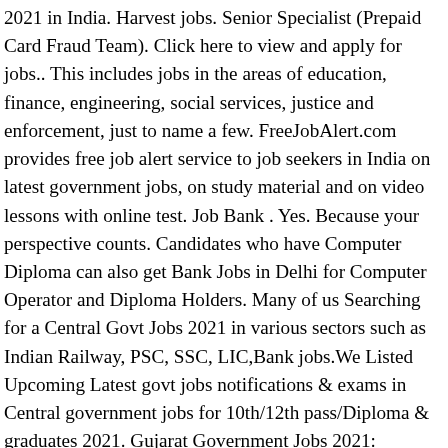2021 in India. Harvest jobs. Senior Specialist (Prepaid Card Fraud Team). Click here to view and apply for jobs.. This includes jobs in the areas of education, finance, engineering, social services, justice and enforcement, just to name a few. FreeJobAlert.com provides free job alert service to job seekers in India on latest government jobs, on study material and on video lessons with online test. Job Bank . Yes. Because your perspective counts. Candidates who have Computer Diploma can also get Bank Jobs in Delhi for Computer Operator and Diploma Holders. Many of us Searching for a Central Govt Jobs 2021 in various sectors such as Indian Railway, PSC, SSC, LIC,Bank jobs.We Listed Upcoming Latest govt jobs notifications & exams in Central government jobs for 10th/12th pass/Diploma & graduates 2021. Gujarat Government Jobs 2021: Aspirants looking for Oja’s maru Gujarat Jobs 2021 can get detailed info about Government Jobs in Gujarat from this page. There are quite a lot of vacancies released for Bank Jobs such as in public sector Banks, Nationalized banks, Government undertaking Banks, Scheduled Banks and Leading Private Indian Banks. Latest Sabhi Government Jobs Notification